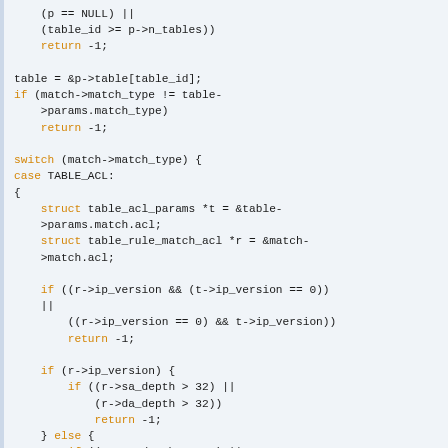[Figure (other): C source code snippet showing table lookup and ACL matching logic with keywords highlighted in orange]